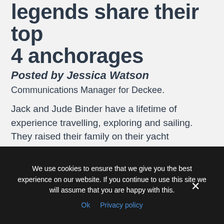Aussie cruising legends share their top 4 anchorages
Posted by Jessica Watson
Communications Manager for Deckee.
Jack and Jude Binder have a lifetime of experience travelling, exploring and sailing. They raised their family on their yacht Banyandah and have circumnavigated Australia many times, twice in the last decade alone. They describe Australia as unique, saying 'From the well-developed east coast, tropical north, arid west and temperate
We use cookies to ensure that we give you the best experience on our website. If you continue to use this site we will assume that you are happy with this.
Ok   Privacy policy